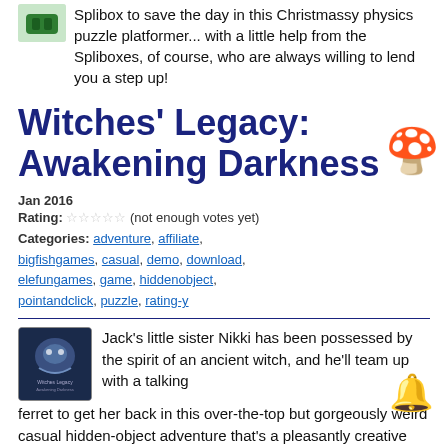Splibox to save the day in this Christmassy physics puzzle platformer... with a little help from the Spliboxes, of course, who are always willing to lend you a step up!
Witches' Legacy: Awakening Darkness
Jan 2016
Rating: ☆☆☆☆☆ (not enough votes yet)
Categories: adventure, affiliate, bigfishgames, casual, demo, download, elefungames, game, hiddenobject, pointandclick, puzzle, rating-y
Jack's little sister Nikki has been possessed by the spirit of an ancient witch, and he'll team up with a talking ferret to get her back in this over-the-top but gorgeously weird casual hidden-object adventure that's a pleasantly creative and stunning tale, if more than a little convoluted.
Weekday Escape